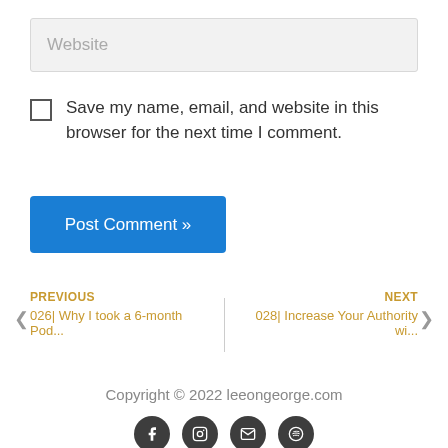Website
Save my name, email, and website in this browser for the next time I comment.
Post Comment »
PREVIOUS
026| Why I took a 6-month Pod...
NEXT
028| Increase Your Authority wi...
Copyright © 2022 leeongeorge.com